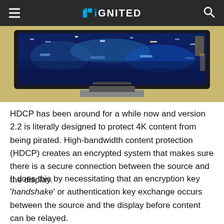iGNITED
[Figure (photo): Photo of a large flat-screen TV with a blue reflective water image on screen, sitting on a yellow/gold surface]
HDCP has been around for a while now and version 2.2 is literally designed to protect 4K content from being pirated. High-bandwidth content protection (HDCP) creates an encrypted system that makes sure there is a secure connection between the source and the display.
It does this by necessitating that an encryption key 'handshake' or authentication key exchange occurs between the source and the display before content can be relayed.